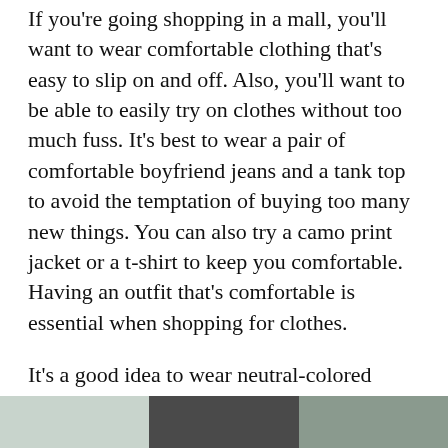If you're going shopping in a mall, you'll want to wear comfortable clothing that's easy to slip on and off. Also, you'll want to be able to easily try on clothes without too much fuss. It's best to wear a pair of comfortable boyfriend jeans and a tank top to avoid the temptation of buying too many new things. You can also try a camo print jacket or a t-shirt to keep you comfortable. Having an outfit that's comfortable is essential when shopping for clothes.
It's a good idea to wear neutral-colored clothing if you don't have a lot of options. A white tank or top will allow you to layer over the top. You can also wear skirts rather than trousers if you're a shorter person. Lastly, you'll want to have nice hair, though! Don't worry about having a perfect mane, or a perfect ponytail. Just be sure to look beautiful when you step out to shop.
[Figure (photo): Partial photo strip at the bottom of the page showing clothing/fashion imagery]